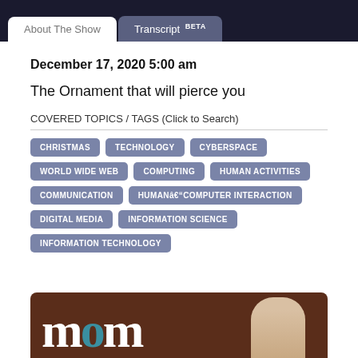About The Show | Transcript BETA
December 17, 2020 5:00 am
The Ornament that will pierce you
COVERED TOPICS / TAGS (Click to Search)
CHRISTMAS
TECHNOLOGY
CYBERSPACE
WORLD WIDE WEB
COMPUTING
HUMAN ACTIVITIES
COMMUNICATION
HUMAN–COMPUTER INTERACTION
DIGITAL MEDIA
INFORMATION SCIENCE
INFORMATION TECHNOLOGY
[Figure (photo): Bottom banner image showing 'mom' logo text in white on brown background with a partial view of a person's face]